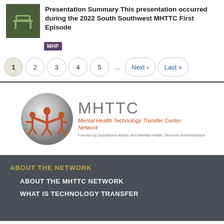Presentation Summary This presentation occurred during the 2022 South Southwest MHTTC First Episode
[Figure (logo): MHP badge - small purple rectangle with white text MHP]
1 2 3 4 5 ... Next › Last »
[Figure (logo): MHTTC Mental Health Technology Transfer Center Network logo with circular emblem featuring orange figure and text. Funded by Substance Abuse and Mental Health Services Administration]
ABOUT THE NETWORK
ABOUT THE MHTTC NETWORK
WHAT IS TECHNOLOGY TRANSFER